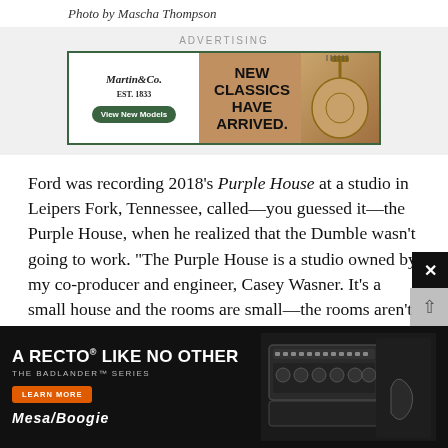Photo by Mascha Thompson
[Figure (screenshot): Martin & Co. EST. 1833 advertisement banner with guitar image. Text reads: NEW CLASSICS HAVE ARRIVED. Button: View New Models]
Ford was recording 2018's Purple House at a studio in Leipers Fork, Tennessee, called—you guessed it—the Purple House, when he realized that the Dumble wasn't going to work. "The Purple House is a studio owned by my co-producer and engineer, Casey Wasner. It's a small house and the rooms are small—the rooms aren't live—and I tried using the Dumble and it was just too big. Everything sounded small, dead [in those small, dead rooms], so my amp changed. It was direct, and Casey was in the control room playing rhythm
[Figure (screenshot): Mesa/Boogie advertisement for Badlander Series amp. Text: A RECTO LIKE NO OTHER / THE BADLANDER SERIES. Learn More button. Mesa/Boogie logo. Image of amp head and guitar.]